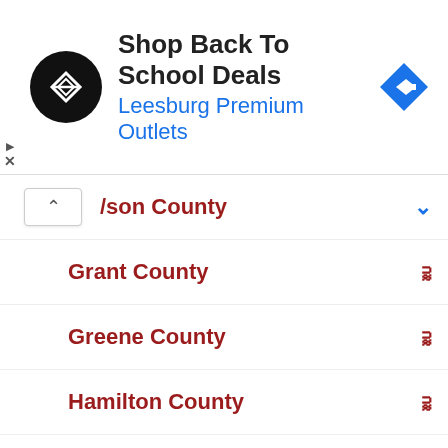[Figure (screenshot): Advertisement banner for Leesburg Premium Outlets - Shop Back To School Deals, with circular black logo and blue diamond arrow icon]
…son County (partially visible, collapsed)
Grant County
Greene County
Hamilton County
Hancock County
Harrison County
Hendricks County
Henry County
Howard County
Huntington County